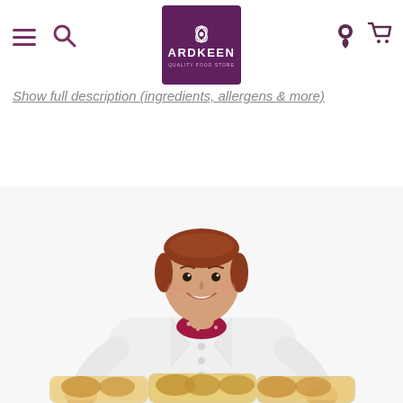Ardkeen Quality Food Store — Navigation bar with hamburger, search, logo, location, and cart icons
wint lid on in a saucepan with 2-3 inches of boiling water and steam for 20 minutes
Show full description (ingredients, allergens & more)
[Figure (photo): A woman in a white chef's coat and red polka-dot neckerchief, smiling, holding packaged bread rolls in front of her. White background. Product photo for Ardkeen Quality Food Store.]